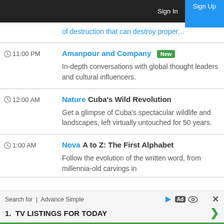Sign In | Sign Up
of destruction that can destroy proper…
11:00 PM — Amanpour and Company [New] — In-depth conversations with global thought leaders and cultural influencers.
12:00 AM — Nature Cuba's Wild Revolution — Get a glimpse of Cuba's spectacular wildlife and landscapes, left virtually untouched for 50 years.
1:00 AM — Nova A to Z: The First Alphabet — Follow the evolution of the written word, from millennia-old carvings in
Search for | Advance Simple
1. TV LISTINGS FOR TODAY